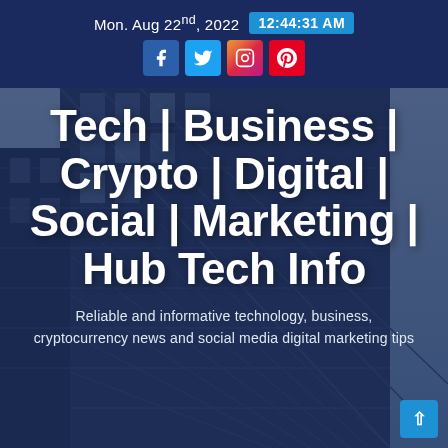Mon. Aug 22nd, 2022  12:44:31 AM
[Figure (illustration): Website header screenshot showing social media icons (Facebook, Twitter, Instagram, Pinterest), a building photo background, site title 'Tech | Business | Crypto | Digital | Social | Marketing | Hub Tech Info', and tagline about reliable technology and business news.]
Tech | Business | Crypto | Digital | Social | Marketing | Hub Tech Info
Reliable and informative technology, business, cryptocurrency news and social media digital marketing tips